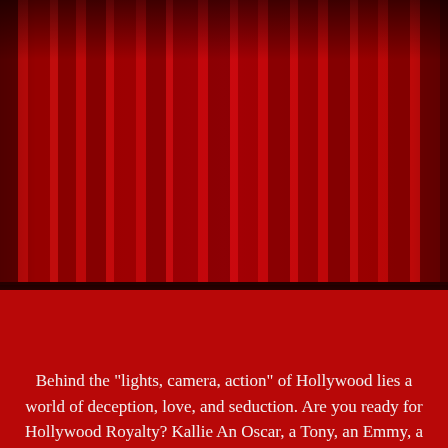[Figure (illustration): Red theater curtain, closed, viewed from the front. Dramatic folds and shadows across the full width. A dark stage floor visible at the bottom of the curtain.]
Behind the "lights, camera, action" of Hollywood lies a world of deception, love, and seduction. Are you ready for Hollywood Royalty? Kallie An Oscar, a Tony, an Emmy, a